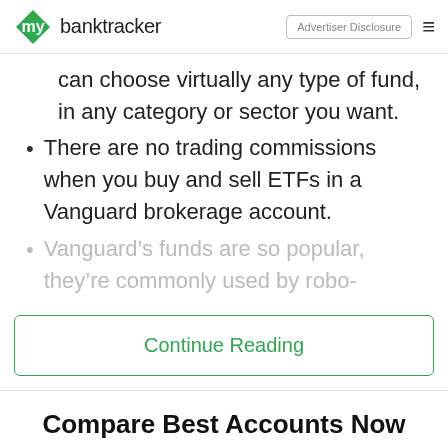mybanktracker | Advertiser Disclosure
can choose virtually any type of fund, in any category or sector you want.
There are no trading commissions when you buy and sell ETFs in a Vanguard brokerage account.
Vanguard’s funds are so popular, they’re commonly used by robo-
Continue Reading
Compare Best Accounts Now